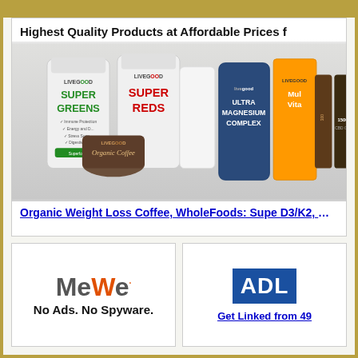Highest Quality Products at Affordable Prices f
[Figure (photo): LiveGood product lineup including Super Greens, Super Reds, Organic Coffee, Ultra Magnesium Complex, Multi Vitamins, CBD Oil bottles at 300mg and 1500mg]
Organic Weight Loss Coffee, WholeFoods: Supe D3/K2, Magnesium, CBD to help yo
[Figure (logo): MeWe logo with colorful dots — No Ads. No Spyware.]
No Ads. No Spyware.
[Figure (logo): ADL logo in blue box]
Get Linked from 49